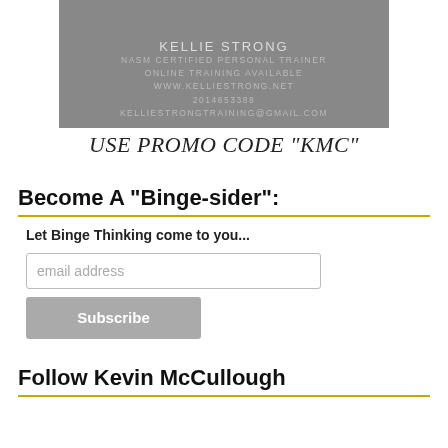[Figure (photo): Black and white photo of a personal trainer advertisement for Kellie Strong, showing text: KELLIE STRONG, NASM CERTIFIED PERSONAL TRAINER, ONLINE TRAINING AVAILABLE, WWW.KELLIESTRONG.NET, 2014653388, KELLIESTRONGTRAINING@GMAIL.COM]
USE PROMO CODE "KMC"
Become A “Binge-sider”:
Let Binge Thinking come to you...
email address
Subscribe
Follow Kevin McCullough